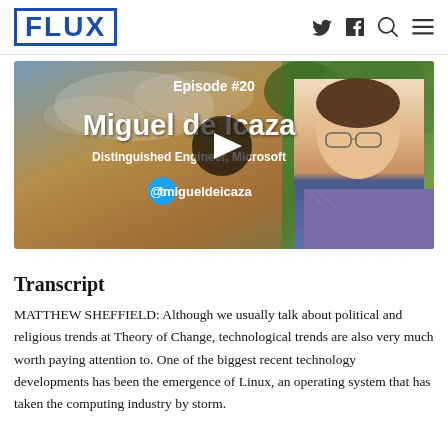FLUX — navigation header with Twitter, Facebook, Search, and Menu icons
[Figure (other): Video thumbnail for Episode #20 featuring Miguel de Icaza, Distinguished Engineer at Microsoft. Shows guest name, title, Twitter handle @migueldeicaza, a play button overlay, and a photo of Miguel de Icaza on the right side.]
· · · · · · · · · · · · · · · · · · · · · · · · · · · ·
Transcript
MATTHEW SHEFFIELD: Although we usually talk about political and religious trends at Theory of Change, technological trends are also very much worth paying attention to. One of the biggest recent technology developments has been the emergence of Linux, an operating system that has taken the computing industry by storm.